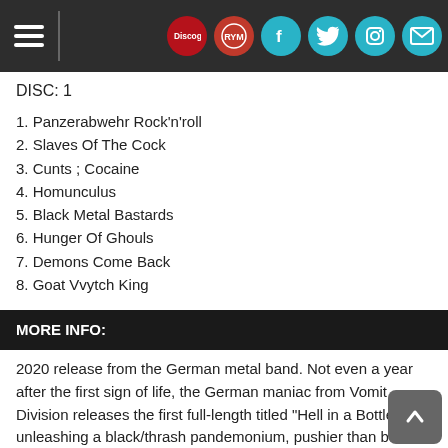Navigation header with hamburger menu and social icons (Discogs, Rate Your Music, Facebook, Twitter, Instagram, Email)
DISC: 1
1. Panzerabwehr Rock'n'roll
2. Slaves Of The Cock
3. Cunts ; Cocaine
4. Homunculus
5. Black Metal Bastards
6. Hunger Of Ghouls
7. Demons Come Back
8. Goat Vvytch King
MORE INFO:
2020 release from the German metal band. Not even a year after the first sign of life, the German maniac from Vomit Division releases the first full-length titled "Hell in a Bottle", unleashing a black/thrash pandemonium, pushier than before, especially noticeable in the lyrics. Loaded with more ripping riffs, fresh and unpredictable songwriting, quite diverse vocals and solid guitar solos, the album takes some